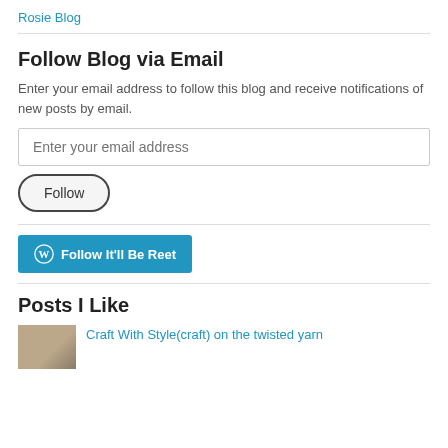Rosie Blog
Follow Blog via Email
Enter your email address to follow this blog and receive notifications of new posts by email.
[Figure (screenshot): Email input field with placeholder text 'Enter your email address']
[Figure (screenshot): Follow button with rounded border]
[Figure (screenshot): WordPress Follow button labeled 'Follow It'll Be Reet' with WordPress icon]
Posts I Like
Craft With Style(craft) on the twisted yarn